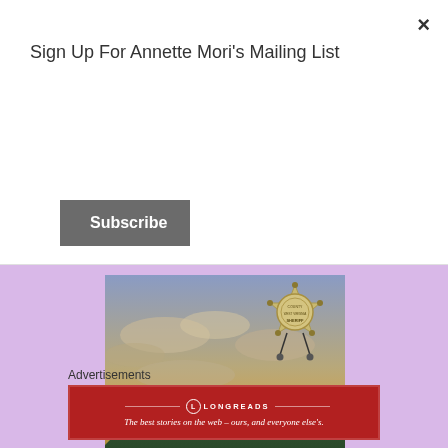Sign Up For Annette Mori's Mailing List
Subscribe
[Figure (illustration): Book cover for 'Gold Star Chance' showing a sheriff's badge over a mountain landscape with dramatic sunset sky, on a lavender/purple background]
Advertisements
[Figure (logo): Longreads advertisement banner in red: 'LONGREADS' logo with tagline 'The best stories on the web – ours, and everyone else's.']